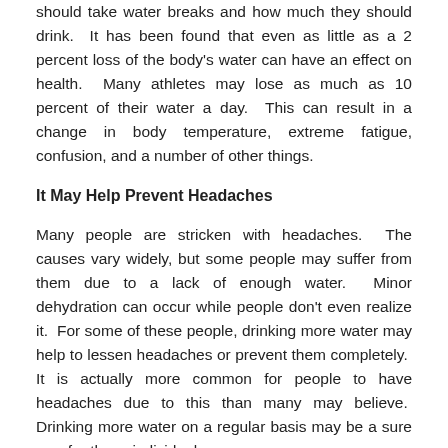should take water breaks and how much they should drink.  It has been found that even as little as a 2 percent loss of the body's water can have an effect on health.  Many athletes may lose as much as 10 percent of their water a day.  This can result in a change in body temperature, extreme fatigue, confusion, and a number of other things.
It May Help Prevent Headaches
Many people are stricken with headaches.  The causes vary widely, but some people may suffer from them due to a lack of enough water.  Minor dehydration can occur while people don't even realize it.  For some of these people, drinking more water may help to lessen headaches or prevent them completely.  It is actually more common for people to have headaches due to this than many may believe.  Drinking more water on a regular basis may be a sure way for those individuals